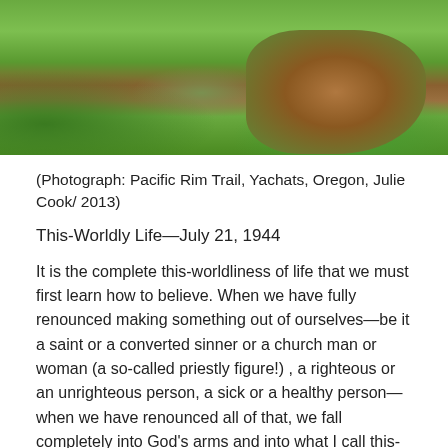[Figure (photo): Photograph of Pacific Rim Trail, Yachats, Oregon showing green vegetation and rocky soil/earth]
(Photograph: Pacific Rim Trail, Yachats, Oregon, Julie Cook/ 2013)
This-Worldly Life—July 21, 1944
It is the complete this-worldliness of life that we must first learn how to believe. When we have fully renounced making something out of ourselves—be it a saint or a converted sinner or a church man or woman (a so-called priestly figure!) , a righteous or an unrighteous person, a sick or a healthy person—when we have renounced all of that, we fall completely into God's arms and into what I call this-worldliness, namely, living in an abundance of tasks,